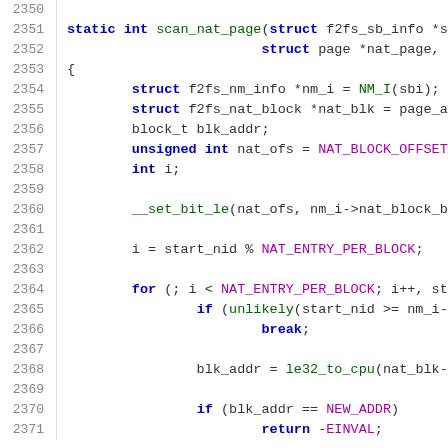Source code listing, lines 2350-2371, showing scan_nat_page function in C
2350: (blank)
2351: static int scan_nat_page(struct f2fs_sb_info *s
2352:                              struct page *nat_page,
2353: {
2354:         struct f2fs_nm_info *nm_i = NM_I(sbi);
2355:         struct f2fs_nat_block *nat_blk = page_a
2356:         block_t blk_addr;
2357:         unsigned int nat_ofs = NAT_BLOCK_OFFSET
2358:         int i;
2359: (blank)
2360:         __set_bit_le(nat_ofs, nm_i->nat_block_b
2361: (blank)
2362:         i = start_nid % NAT_ENTRY_PER_BLOCK;
2363: (blank)
2364:         for (; i < NAT_ENTRY_PER_BLOCK; i++, st
2365:                 if (unlikely(start_nid >= nm_i-
2366:                         break;
2367: (blank)
2368:                 blk_addr = le32_to_cpu(nat_blk-
2369: (blank)
2370:                 if (blk_addr == NEW_ADDR)
2371:                         return -EINVAL;